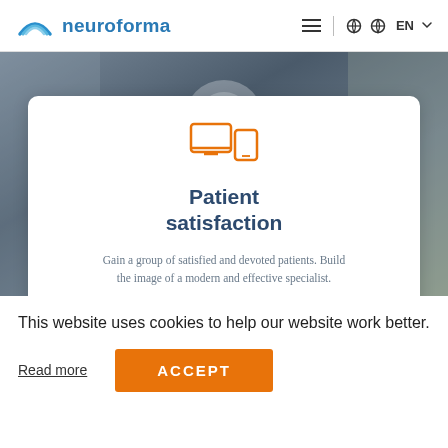neuroforma — navigation header with logo, hamburger menu, search, globe, EN language selector
[Figure (screenshot): Background photo of medical/stethoscope scene with blurred gray-blue tones]
[Figure (illustration): Orange icon of a laptop/monitor and tablet device]
Patient satisfaction
Gain a group of satisfied and devoted patients. Build the image of a modern and effective specialist.
This website uses cookies to help our website work better.
Read more
ACCEPT